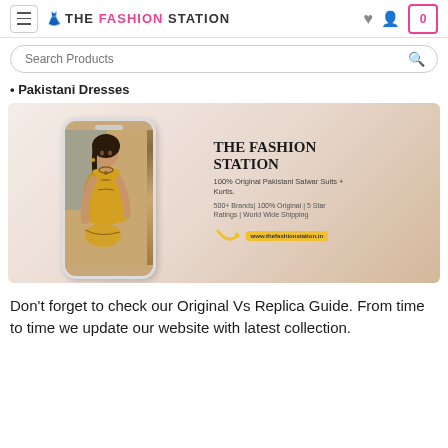THE FASHION STATION
Search Products
Pakistani Dresses
[Figure (screenshot): The Fashion Station banner showing a woman in Pakistani dress inside a phone mockup on the left, and brand text on the right: THE FASHION STATION, 100% Original Pakistani Salwar Suits + Kurtis., 500+ Brands| 100% Original | 5 Star Ratings | World Wide Shipping, www.thefashionstation.in]
Don't forget to check our Original Vs Replica Guide. From time to time we update our website with latest collection.